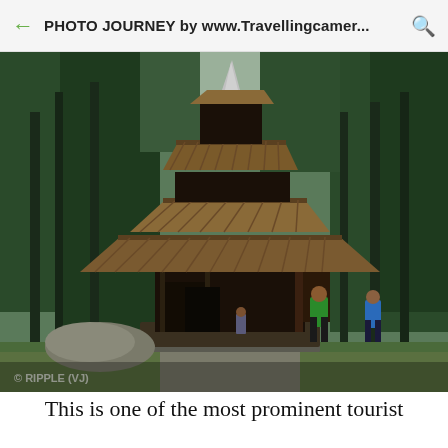PHOTO JOURNEY by www.Travellingcamer...
[Figure (photo): Photograph of a traditional multi-tiered wooden Hindu temple (Hidimba Devi Temple) surrounded by tall pine/deodar trees. The temple has three tiered wooden roofs tapering to a conical spire. The structure is dark wood with stone base. Two people are visible at the entrance. Watermark reads: © RIPPLE (VJ)]
This is one of the most prominent tourist